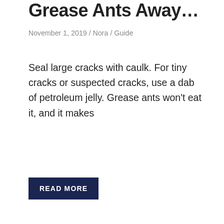Grease Ants Away…
November 1, 2019 / Nora / Guide
Seal large cracks with caulk. For tiny cracks or suspected cracks, use a dab of petroleum jelly. Grease ants won't eat it, and it makes
READ MORE